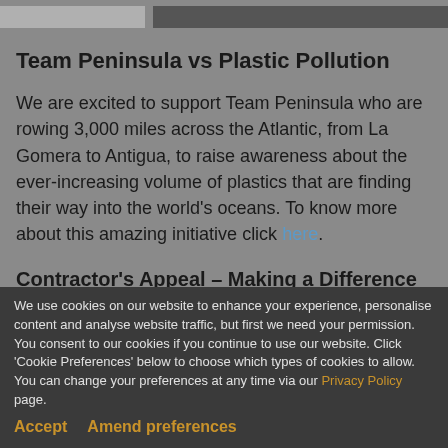[Figure (screenshot): Top navigation bar with left grey block and right dark grey block]
Team Peninsula vs Plastic Pollution
We are excited to support Team Peninsula who are rowing 3,000 miles across the Atlantic, from La Gomera to Antigua, to raise awareness about the ever-increasing volume of plastics that are finding their way into the world's oceans. To know more about this amazing initiative click here.
Contractor's Appeal – Making a Difference
When we were contacted by the Contractor's Appeal...
We use cookies on our website to enhance your experience, personalise content and analyse website traffic, but first we need your permission. You consent to our cookies if you continue to use our website. Click 'Cookie Preferences' below to choose which types of cookies to allow. You can change your preferences at any time via our Privacy Policy page.
Accept
Amend preferences